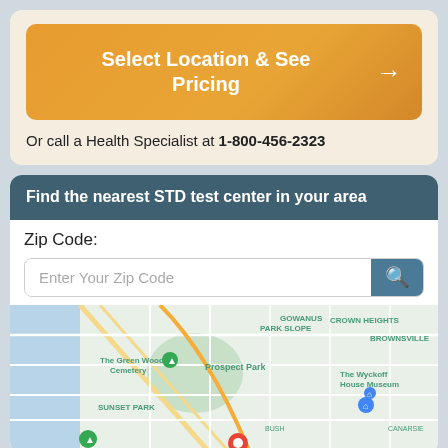Select Location & See Pricing
Or call a Health Specialist at 1-800-456-2323
Find the nearest STD test center in your area
Zip Code:
Enter Your Zip Code
[Figure (map): Google map showing Brooklyn area neighborhoods including Gowanus, Park Slope, Crown Heights, Brownsville, The Green Wood Cemetery, Prospect Park, Sunset Park, The Wyckoff House Museum, Canarsie, with map pins indicating STD test center locations.]